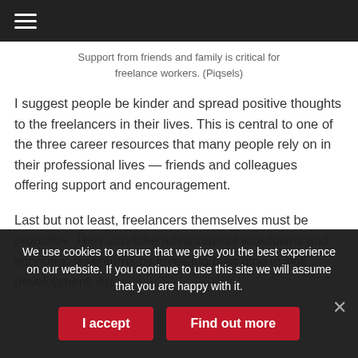≡
Support from friends and family is critical for freelance workers. (Piqsels)
I suggest people be kinder and spread positive thoughts to the freelancers in their lives. This is central to one of the three career resources that many people rely on in their professional lives — friends and colleagues offering support and encouragement.
Last but not least, freelancers themselves must be proactive. They can take advantage of lockdowns and economic downturns by investing their time in skill development. An
We use cookies to ensure that we give you the best experience on our website. If you continue to use this site we will assume that you are happy with it.